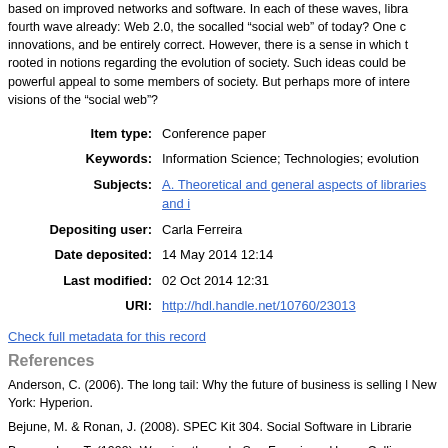based on improved networks and software. In each of these waves, libra fourth wave already: Web 2.0, the socalled “social web” of today? One c innovations, and be entirely correct. However, there is a sense in which t rooted in notions regarding the evolution of society. Such ideas could be powerful appeal to some members of society. But perhaps more of intere visions of the “social web”?
| Label | Value |
| --- | --- |
| Item type: | Conference paper |
| Keywords: | Information Science; Technologies; evolution |
| Subjects: | A. Theoretical and general aspects of libraries and i |
| Depositing user: | Carla Ferreira |
| Date deposited: | 14 May 2014 12:14 |
| Last modified: | 02 Oct 2014 12:31 |
| URI: | http://hdl.handle.net/10760/23013 |
Check full metadata for this record
References
Anderson, C. (2006). The long tail: Why the future of business is selling l New York: Hyperion.
Bejune, M. & Ronan, J. (2008). SPEC Kit 304. Social Software in Librarie
Berners-Lee, T. (1999). Weaving the web. San Francisco: HarperCollins.
Blattmann, U. & Camão da Silva, F.G. (2007). Colaboração e interação